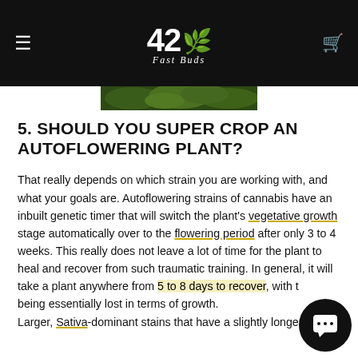42 Fast Buds
[Figure (photo): Partial cannabis plant photo strip visible below the header bar]
5. SHOULD YOU SUPER CROP AN AUTOFLOWERING PLANT?
That really depends on which strain you are working with, and what your goals are. Autoflowering strains of cannabis have an inbuilt genetic timer that will switch the plant's vegetative growth stage automatically over to the flowering period after only 3 to 4 weeks. This really does not leave a lot of time for the plant to heal and recover from such traumatic training. In general, it will take a plant anywhere from 5 to 8 days to recover, with the time being essentially lost in terms of growth.
Larger, Sativa-dominant stains that have a slightly longer